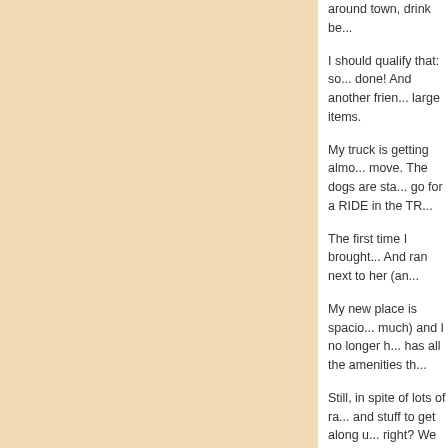around town, drink be...
I should qualify that: so... done! And another frien... large items.
My truck is getting almo... move. The dogs are sta... go for a RIDE in the TR...
The first time I brought... And ran next to her (an...
My new place is spacio... much) and I no longer h... has all the amenities th...
Still, in spite of lots of ra... and stuff to get along u... right? We can have a b... computer desk up a few...
Permalink | Comments (0)